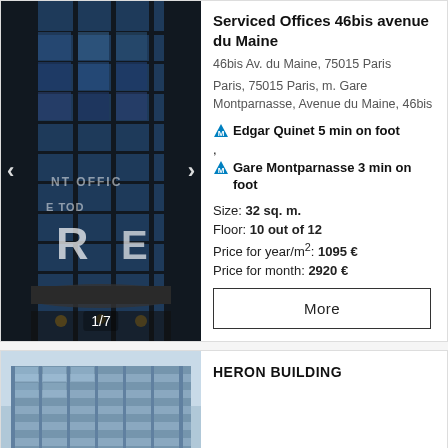[Figure (photo): Modern glass building facade with office-to-let signage, navigation arrows and 1/7 image counter]
Serviced Offices 46bis avenue du Maine
46bis Av. du Maine, 75015 Paris
Paris, 75015 Paris, m. Gare Montparnasse, Avenue du Maine, 46bis
M Edgar Quinet 5 min on foot
M Gare Montparnasse 3 min on foot
Size: 32 sq. m.
Floor: 10 out of 12
Price for year/m²: 1095 €
Price for month: 2920 €
More
[Figure (photo): Modern office building exterior (Heron Building) with glass facade against blue sky]
HERON BUILDING